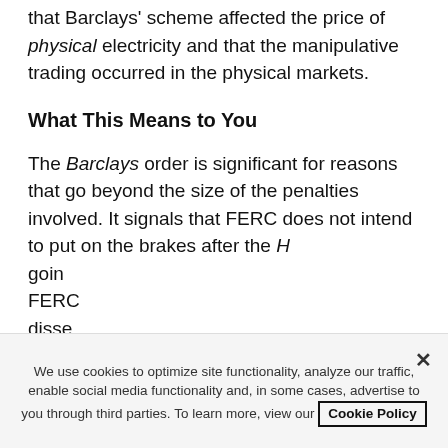that Barclays' scheme affected the price of physical electricity and that the manipulative trading occurred in the physical markets.
What This Means to You
The Barclays order is significant for reasons that go beyond the size of the penalties involved. It signals that FERC does not intend to put on the brakes after the H[…] going […] FERC […] disse[…]
[Figure (other): Blue modal popup overlay with title 'Stay updated.' and text 'Subscribe to receive Husch Blackwell’s news and insights.' with a close button (×).]
We use cookies to optimize site functionality, analyze our traffic, enable social media functionality and, in some cases, advertise to you through third parties. To learn more, view our Cookie Policy